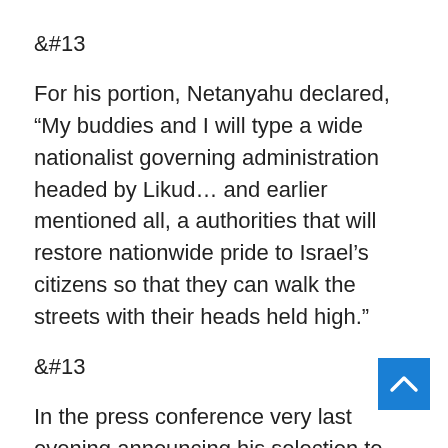&#13
For his portion, Netanyahu declared, “My buddies and I will type a wide nationalist governing administration headed by Likud… and earlier mentioned all, a authorities that will restore nationwide pride to Israel’s citizens so that they can walk the streets with their heads held high.”
&#13
In the press conference very last evening announcing his selection to step down in favor of Lapid, in which he enumerated the achievements of his limited-lived authorities, which he mentioned experienced unified disparate sections of Israel politics and society, Bennett mentioned that what